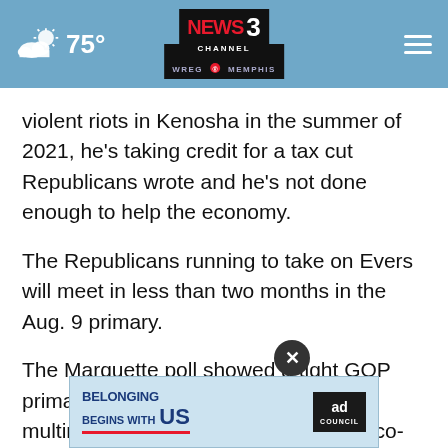75° | NEWS CHANNEL 3 WREG MEMPHIS
violent riots in Kenosha in the summer of 2021, he's taking credit for a tax cut Republicans wrote and he's not done enough to help the economy.
The Republicans running to take on Evers will meet in less than two months in the Aug. 9 primary.
The Marquette poll showed a tight GOP primary race. Tim Michels, a multimillionaire construction business co-owner who won the endorsement of Donald Trump, is in a dead heat with former Lt. Gov. Rebecca Kleefisch, who has been in the GOP race the longest. Michels efisch, who had been leading the pack before Michels got